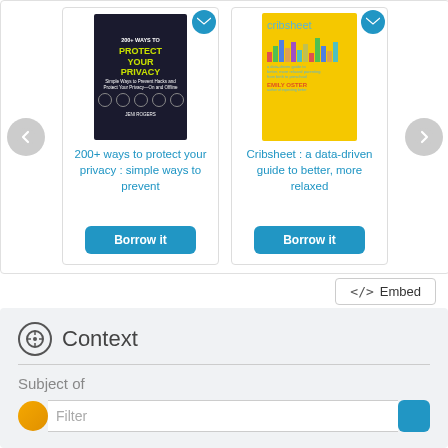[Figure (screenshot): Book carousel showing two books: '200+ ways to protect your privacy : simple ways to prevent' and 'Cribsheet : a data-driven guide to better, more relaxed', each with a 'Borrow it' button and navigation arrows]
200+ ways to protect your privacy : simple ways to prevent
Cribsheet : a data-driven guide to better, more relaxed
</> Embed
Context
Subject of
Filter